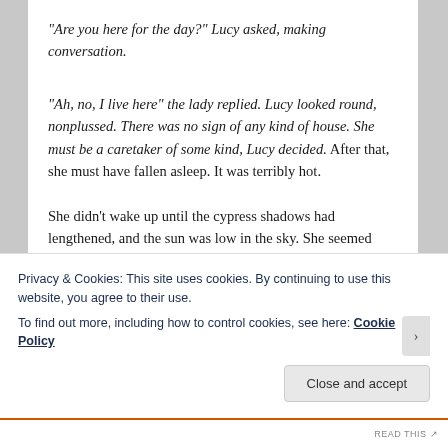“Are you here for the day?” Lucy asked, making conversation.
“Ah, no, I live here” the lady replied. Lucy looked round, nonplussed. There was no sign of any kind of house. She must be a caretaker of some kind, Lucy decided. After that, she must have fallen asleep. It was terribly hot.
She didn’t wake up until the cypress shadows had lengthened, and the sun was low in the sky. She seemed
Privacy & Cookies: This site uses cookies. By continuing to use this website, you agree to their use.
To find out more, including how to control cookies, see here: Cookie Policy